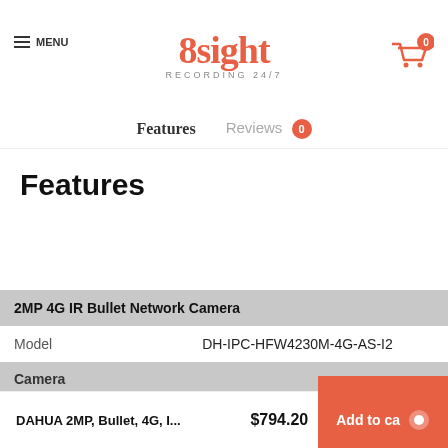8sight RECORDING 24/7
Features
Reviews 0
Features
| 2MP 4G IR Bullet Network Camera |  |
| --- | --- |
| Model | DH-IPC-HFW4230M-4G-AS-I2 |
| Camera |  |
| Image Sensor | 1/2.9" 2 Megapixel progressive scan CMOS |
DAHUA 2MP, Bullet, 4G, I... $794.20 Add to ca